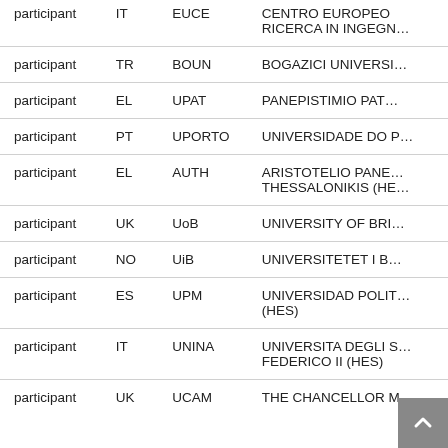| Role | Country | Short Name | Full Name |
| --- | --- | --- | --- |
| participant | IT | EUCE | CENTRO EUROPEO RICERCA IN INGEGN… |
| participant | TR | BOUN | BOGAZICI UNIVERSI… |
| participant | EL | UPAT | PANEPISTIMIO PAT… |
| participant | PT | UPORTO | UNIVERSIDADE DO P… |
| participant | EL | AUTH | ARISTOTELIO PANE… THESSALONIKIS (HE… |
| participant | UK | UoB | UNIVERSITY OF BRI… |
| participant | NO | UiB | UNIVERSITETET I B… |
| participant | ES | UPM | UNIVERSIDAD POLIT… (HES) |
| participant | IT | UNINA | UNIVERSITA DEGLI S… FEDERICO II (HES) |
| participant | UK | UCAM | THE CHANCELLOR M… |